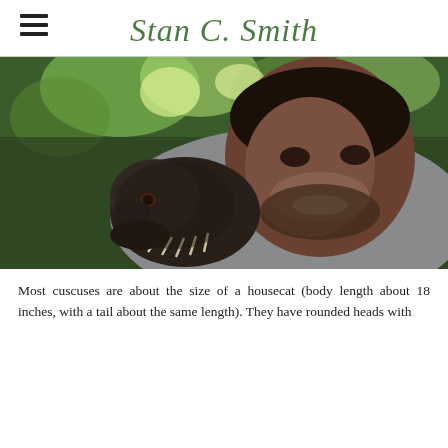Stan C. Smith
[Figure (photo): A smiling man holding a small dark-furred cuscus (marsupial) on his shoulder, with green foliage in the background.]
Most cuscuses are about the size of a housecat (body length about 18 inches, with a tail about the same length). They have rounded heads with